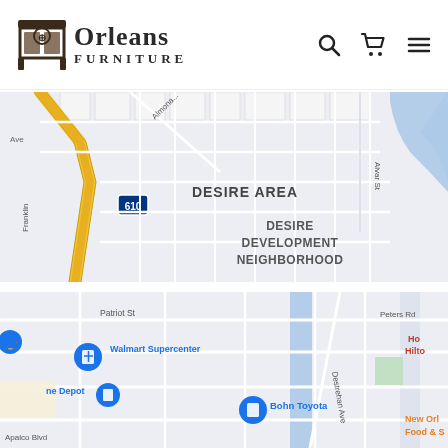[Figure (logo): Orleans Furniture logo with furniture icon and text]
[Figure (map): Google Maps view showing Desire Area and Desire Development Neighborhood in New Orleans, with I-610 highway, Franklin Ave, Almonaster Ave, Alvar St streets visible, water body on right]
[Figure (map): Google Maps view showing Walmart Supercenter, Home Depot, Bohn Toyota, Ho Hilton (partial), New Orleans Food & S (partial), Patriot St, Peters Rd, Destrehan Ave, Apalco Blvd streets visible, with location pins]